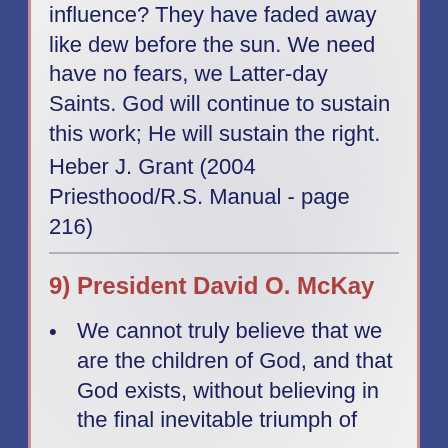influence? They have faded away like dew before the sun. We need have no fears, we Latter-day Saints. God will continue to sustain this work; He will sustain the right.
Heber J. Grant (2004 Priesthood/R.S. Manual - page 216)
9) President David O. McKay
We cannot truly believe that we are the children of God, and that God exists, without believing in the final inevitable triumph of